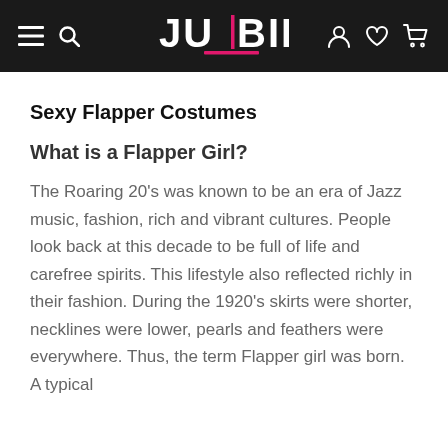JULBIE — navigation header with hamburger menu, search, logo, account, wishlist, and cart icons
Sexy Flapper Costumes
What is a Flapper Girl?
The Roaring 20's was known to be an era of Jazz music, fashion, rich and vibrant cultures. People look back at this decade to be full of life and carefree spirits. This lifestyle also reflected richly in their fashion. During the 1920's skirts were shorter, necklines were lower, pearls and feathers were everywhere. Thus, the term Flapper girl was born. A typical